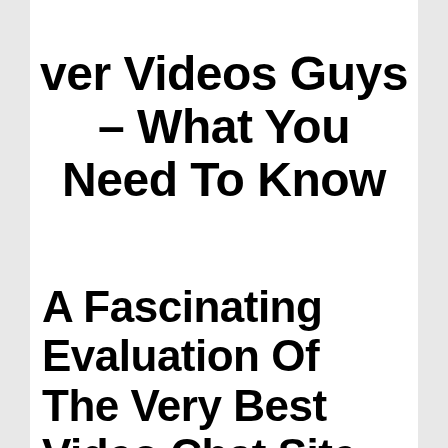ver Videos Guys – What You Need To Know
A Fascinating Evaluation Of The Very Best Video Chat Site With Intriguing Details